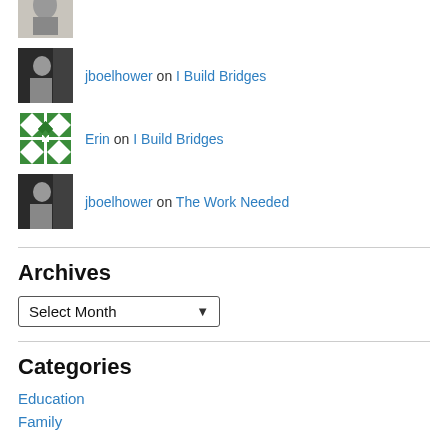[Figure (photo): Small avatar thumbnail of a pencil sketch portrait]
[Figure (photo): Small avatar photo of a man in black shirt]
jboelhower on I Build Bridges
[Figure (illustration): Green and white quilt pattern avatar]
Erin on I Build Bridges
[Figure (photo): Small avatar photo of a man in black shirt]
jboelhower on The Work Needed
Archives
Select Month
Categories
Education
Family